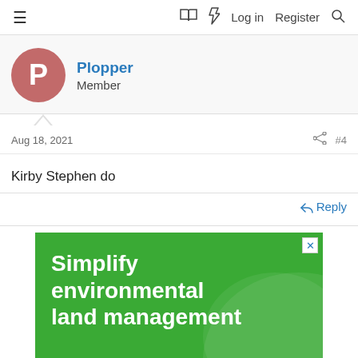≡   🔖 ⚡ Log in  Register  🔍
Plopper
Member
Aug 18, 2021   #4
Kirby Stephen do
↩ Reply
[Figure (photo): Advertisement banner for 'sandy' with green background. Text reads: Simplify environmental land management. Sandy logo partially visible at bottom right.]